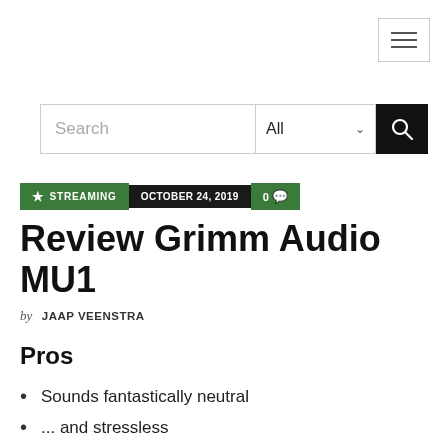[Figure (other): Hamburger menu icon button in top right corner]
[Figure (other): Search bar with text input, All dropdown, and search button]
★ STREAMING   OCTOBER 24, 2019   0 💬
Review Grimm Audio MU1
by JAAP VEENSTRA
Pros
Sounds fantastically neutral
... and stressless
Versatile